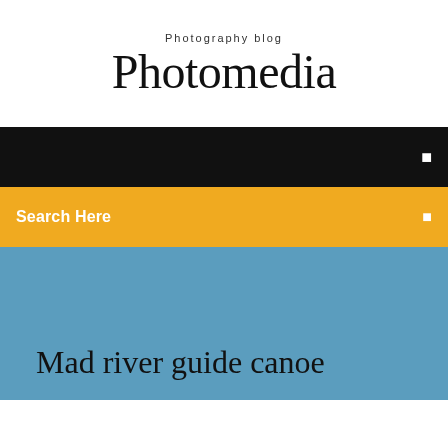Photography blog
Photomedia
[Figure (screenshot): Black navigation bar with white menu icon on the right]
Search Here
Mad river guide canoe